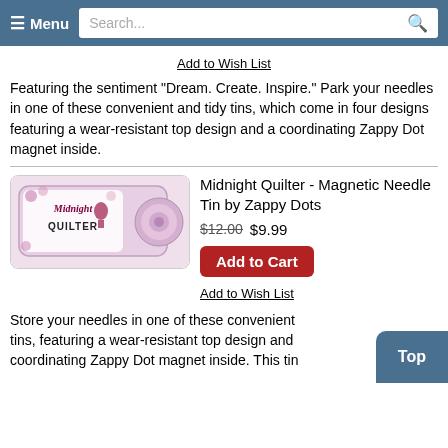Menu  Search...
Add to Wish List
Featuring the sentiment "Dream. Create. Inspire." Park your needles in one of these convenient and tidy tins, which come in four designs featuring a wear-resistant top design and a coordinating Zappy Dot magnet inside.
[Figure (photo): Midnight Quilter magnetic needle tin product image showing a rectangular tin with a decorative design and a round magnet]
Midnight Quilter - Magnetic Needle Tin by Zappy Dots
$12.00  $9.99
Add to Cart
Add to Wish List
Store your needles in one of these convenient tins, featuring a wear-resistant top design and coordinating Zappy Dot magnet inside. This tin features...